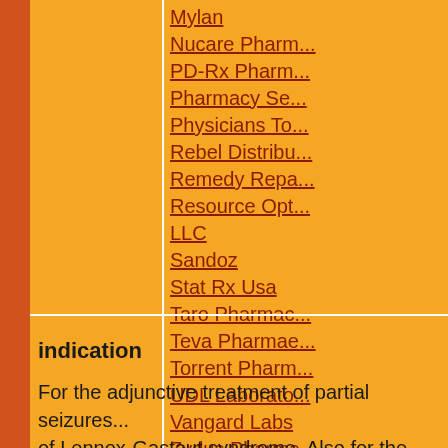| Field | Value |
| --- | --- |
|  | Mylan |
|  | Nucare Pharm... |
|  | PD-Rx Pharm... |
|  | Pharmacy Se... |
|  | Physicians To... |
|  | Rebel Distribu... |
|  | Remedy Repa... |
|  | Resource Opt... LLC |
|  | Sandoz |
|  | Stat Rx Usa |
|  | Taro Pharmac... |
|  | Teva Pharmae... |
|  | Torrent Pharm... |
|  | UDL Laborato... |
|  | Vangard Labs |
|  | Zydus Pharma... |
| Synonyms | GW 273293
Lamotrigina [S...
Lamotriginum |
indication
For the adjunctive treatment of partial seizures... of Lennox-Gastaut syndrome. Also for the mai...